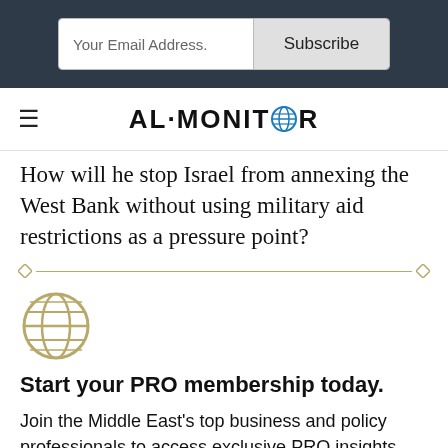Your Email Address. | Subscribe
AL·MONITOR
How will he stop Israel from annexing the West Bank without using military aid restrictions as a pressure point?
Start your PRO membership today.
Join the Middle East's top business and policy professionals to access exclusive PRO insights